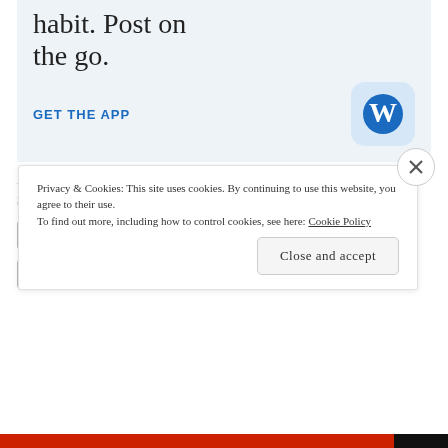[Figure (screenshot): WordPress app advertisement banner with light blue background showing partial text 'habit. Post on the go.' with GET THE APP link and WordPress logo icon]
REPORT THIS AD
Share this:
Twitter
Tumblr
Facebook
LinkedIn
Pinterest
Print
Privacy & Cookies: This site uses cookies. By continuing to use this website, you agree to their use. To find out more, including how to control cookies, see here: Cookie Policy